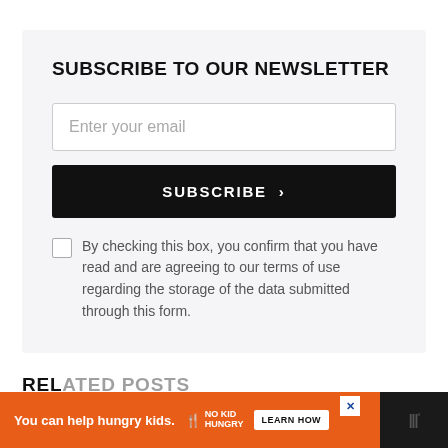SUBSCRIBE TO OUR NEWSLETTER
Enter your email
SUBSCRIBE >
By checking this box, you confirm that you have read and are agreeing to our terms of use regarding the storage of the data submitted through this form.
RELATED POSTS
[Figure (other): Advertisement banner: orange background with 'You can help hungry kids.' text, No Kid Hungry logo, 'LEARN HOW' button, and a website logo on dark background.]